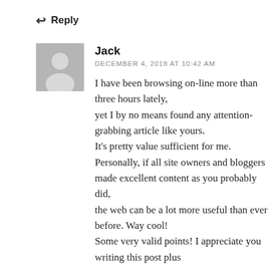↩ Reply
Jack
DECEMBER 4, 2018 AT 10:42 AM
I have been browsing on-line more than three hours lately,
yet I by no means found any attention-grabbing article like yours.
It's pretty value sufficient for me. Personally, if all site owners and bloggers made excellent content as you probably did,
the web can be a lot more useful than ever before. Way cool!
Some very valid points! I appreciate you writing this post plus
the rest of the website is also very good. I need